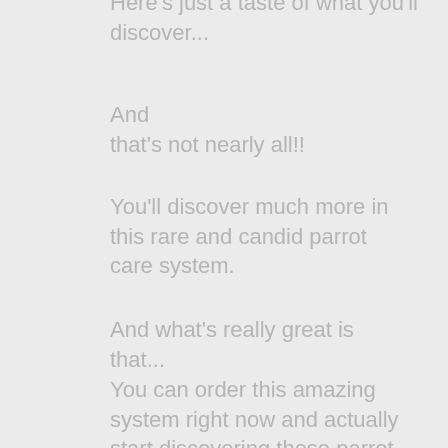Here's just a taste of what you'll discover...
And that's not nearly all!!
You'll discover much more in this rare and candid parrot care system.
And what's really great is that...
You can order this amazing system right now and actually start discovering these parrot care secrets within 30 seconds... yes, that is right... WITHIN